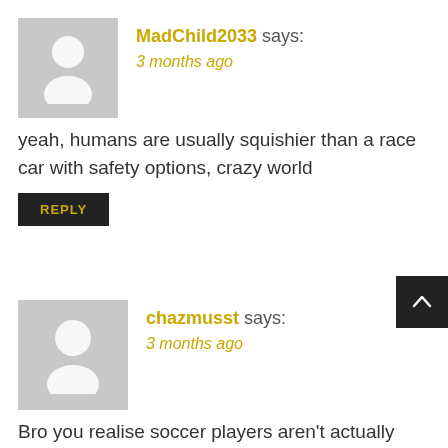MadChild2033 says:
3 months ago
yeah, humans are usually squishier than a race car with safety options, crazy world
REPLY
chazmusst says:
3 months ago
Bro you realise soccer players aren't actually soft they j dive to try and influence ref decisions
REPLY